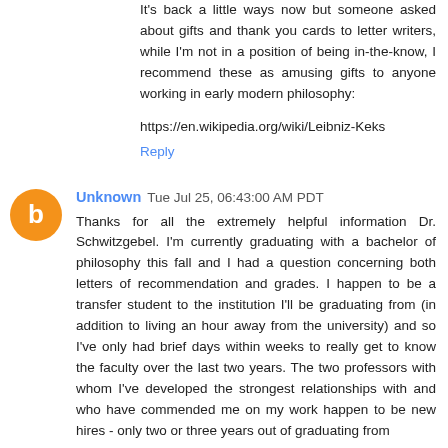It's back a little ways now but someone asked about gifts and thank you cards to letter writers, while I'm not in a position of being in-the-know, I recommend these as amusing gifts to anyone working in early modern philosophy:
https://en.wikipedia.org/wiki/Leibniz-Keks
Reply
Unknown  Tue Jul 25, 06:43:00 AM PDT
Thanks for all the extremely helpful information Dr. Schwitzgebel. I'm currently graduating with a bachelor of philosophy this fall and I had a question concerning both letters of recommendation and grades. I happen to be a transfer student to the institution I'll be graduating from (in addition to living an hour away from the university) and so I've only had brief days within weeks to really get to know the faculty over the last two years. The two professors with whom I've developed the strongest relationships with and who have commended me on my work happen to be new hires - only two or three years out of graduating from